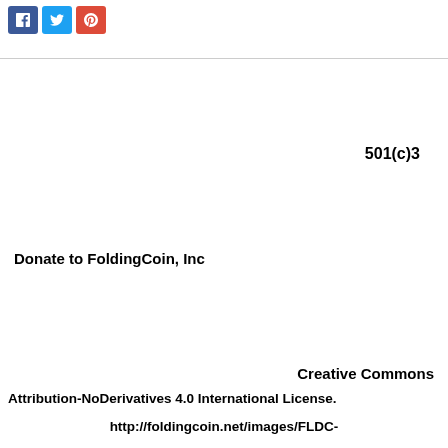[Figure (other): Three social media share buttons: Facebook (blue), Twitter (light blue), Google+ (red)]
501(c)3
Donate to FoldingCoin, Inc
Creative Commons
Attribution-NoDerivatives 4.0 International License.
http://foldingcoin.net/images/FLDC-